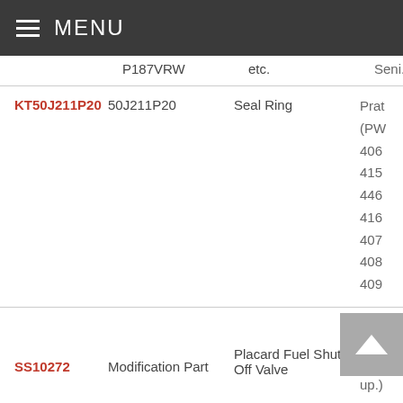MENU
| Part Link | Part Number | Description | Reference |
| --- | --- | --- | --- |
|  | P187VRW | etc. | Seni... |
| KT50J211P20 | 50J211P20 | Seal Ring | Pratt (PW 4060 4152 4460 4168 4077 4084 4098 |
| SS10272 | Modification Part | Placard Fuel Shut Off Valve | ((ER CD, up.) |